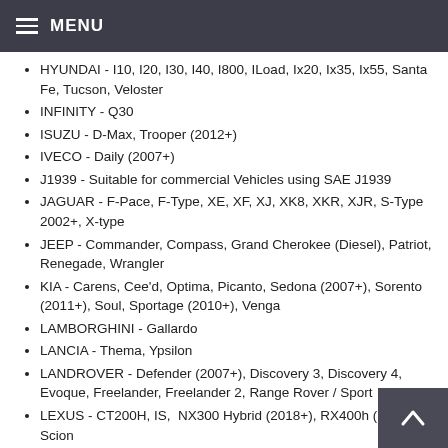MENU
HYUNDAI - I10, I20, I30, I40, I800, ILoad, Ix20, Ix35, Ix55, Santa Fe, Tucson, Veloster
INFINITY - Q30
ISUZU - D-Max, Trooper (2012+)
IVECO - Daily (2007+)
J1939 - Suitable for commercial Vehicles using SAE J1939
JAGUAR - F-Pace, F-Type, XE, XF, XJ, XK8, XKR, XJR, S-Type 2002+, X-type
JEEP - Commander, Compass, Grand Cherokee (Diesel), Patriot, Renegade, Wrangler
KIA - Carens, Cee'd, Optima, Picanto, Sedona (2007+), Sorento (2011+), Soul, Sportage (2010+), Venga
LAMBORGHINI - Gallardo
LANCIA - Thema, Ypsilon
LANDROVER - Defender (2007+), Discovery 3, Discovery 4, Evoque, Freelander, Freelander 2, Range Rover / Sport
LEXUS - CT200H, IS,  NX300 Hybrid (2018+), RX400h (Hybrid), Scion
MASERATI - Grand Turismo
MAZDA - 2, 3, 5, 6, BT-50 (2011+), CX-3, CX-5, CX-7, CV-9, MX-5 (2006+), RX-8
MERCEDES - A-Class, B-Class, C-Class, Citan CL, CLA, CLK, E-Class (all models), GLA, GL, GLC, GLE, M-Class, R-Class, S-Class